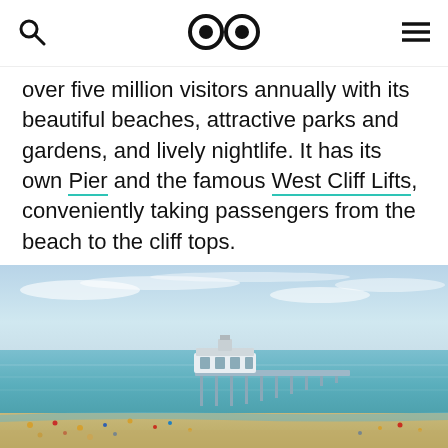[search icon] [logo: two circles] [menu icon]
over five million visitors annually with its beautiful beaches, attractive parks and gardens, and lively nightlife. It has its own Pier and the famous West Cliff Lifts, conveniently taking passengers from the beach to the cliff tops.
[Figure (photo): Aerial view of a seaside pier extending into calm blue-green water, with a sandy beach crowded with people in the foreground and a partly cloudy sky above.]